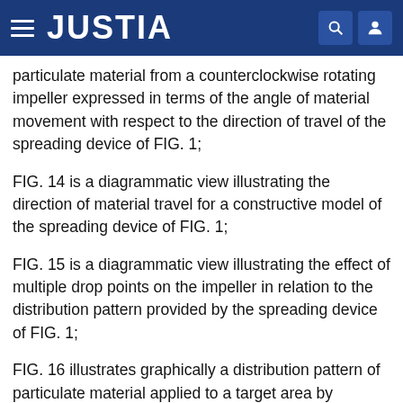JUSTIA
particulate material from a counterclockwise rotating impeller expressed in terms of the angle of material movement with respect to the direction of travel of the spreading device of FIG. 1;
FIG. 14 is a diagrammatic view illustrating the direction of material travel for a constructive model of the spreading device of FIG. 1;
FIG. 15 is a diagrammatic view illustrating the effect of multiple drop points on the impeller in relation to the distribution pattern provided by the spreading device of FIG. 1;
FIG. 16 illustrates graphically a distribution pattern of particulate material applied to a target area by operation of a single rotary impeller spreading device of the prior art;